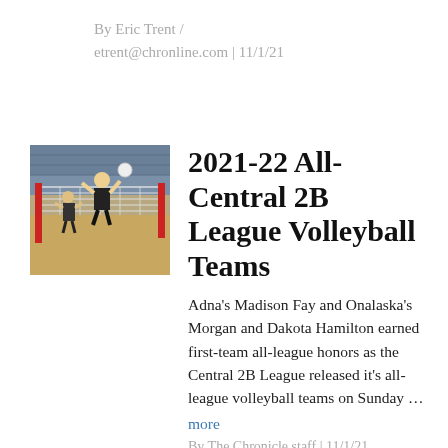By Eric Trent / etrent@chronline.com | 11/1/21
[Figure (photo): Volleyball player at the net in a gymnasium, black and white uniform, net visible in foreground with red poles]
2021-22 All-Central 2B League Volleyball Teams
Adna’s Madison Fay and Onalaska’s Morgan and Dakota Hamilton earned first-team all-league honors as the Central 2B League released it’s all-league volleyball teams on Sunday …
more
By The Chronicle staff | 11/1/21